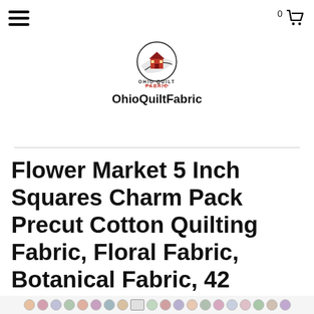≡  [menu icon]  |  0 [cart icon]
[Figure (logo): Ohio Quilt Fabric logo: circular emblem with red barn and swoosh, text OHIO QUILT FABRIC below]
OhioQuiltFabric
Flower Market 5 Inch Squares Charm Pack Precut Cotton Quilting Fabric, Floral Fabric, Botanical Fabric, 42 Pieces, Camelot Fabrics.
[Figure (photo): Thumbnail strip of fabric swatches at the bottom of the page]